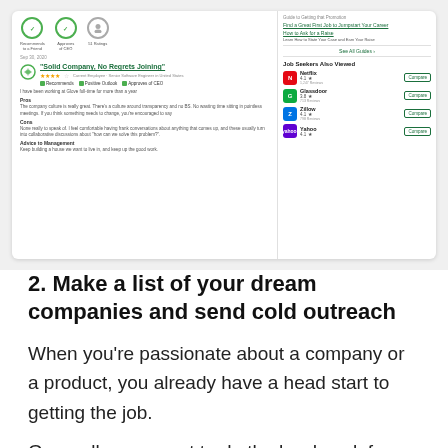[Figure (screenshot): Screenshot of a Glassdoor company review page showing a 'Solid Company, No Regrets Joining' review with 5 stars, a right sidebar showing 'Job Seekers Also Viewed' with Netflix, Glassdoor, Zillow, and Yahoo listings with Compare buttons.]
2. Make a list of your dream companies and send cold outreach
When you’re passionate about a company or a product, you already have a head start to getting the job.
Generally, you want to do the hard work from the...